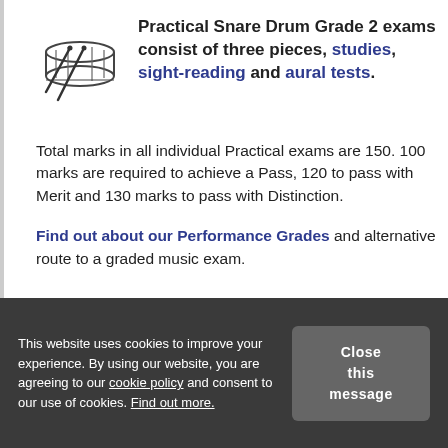[Figure (illustration): Line drawing icon of a snare drum with drumsticks]
Practical Snare Drum Grade 2 exams consist of three pieces, studies, sight-reading and aural tests.
Total marks in all individual Practical exams are 150. 100 marks are required to achieve a Pass, 120 to pass with Merit and 130 marks to pass with Distinction.
Find out about our Performance Grades and alternative route to a graded music exam.
This website uses cookies to improve your experience. By using our website, you are agreeing to our cookie policy and consent to our use of cookies. Find out more.